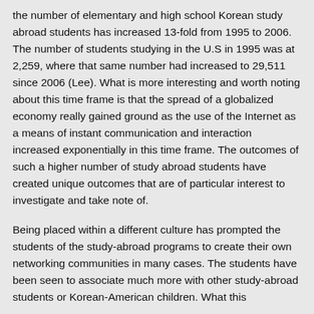the number of elementary and high school Korean study abroad students has increased 13-fold from 1995 to 2006.  The number of students studying in the U.S in 1995 was at 2,259, where that same number had increased to 29,511 since 2006 (Lee).  What is more interesting and worth noting about this time frame is that the spread of a globalized economy really gained ground as the use of the Internet as a means of instant communication and interaction increased exponentially in this time frame.  The outcomes of such a higher number of study abroad students have created unique outcomes that are of particular interest to investigate and take note of.
Being placed within a different culture has prompted the students of the study-abroad programs to create their own networking communities in many cases.  The students have been seen to associate much more with other study-abroad students or Korean-American children.  What this